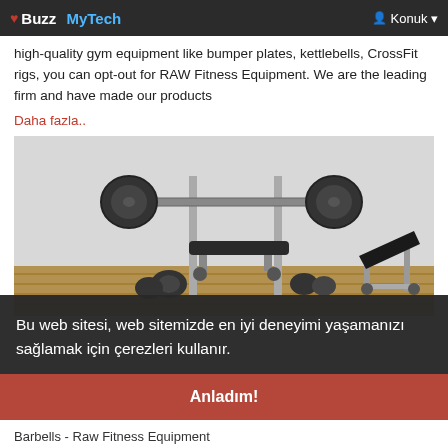♥ Buzz MyTech  👤 Konuk ▾
high-quality gym equipment like bumper plates, kettlebells, CrossFit rigs, you can opt-out for RAW Fitness Equipment. We are the leading firm and have made our products
Daha fazla..
[Figure (photo): Gym bench press setup with barbell loaded with weights and an adjustable bench, another bench visible on the right, wooden floor background]
Bu web sitesi, web sitemizde en iyi deneyimi yaşamanızı sağlamak için çerezleri kullanır.
Daha fazla bilgi edin
RAW Fitness Equipment
Anladım!
Barbells - Raw Fitness Equipment